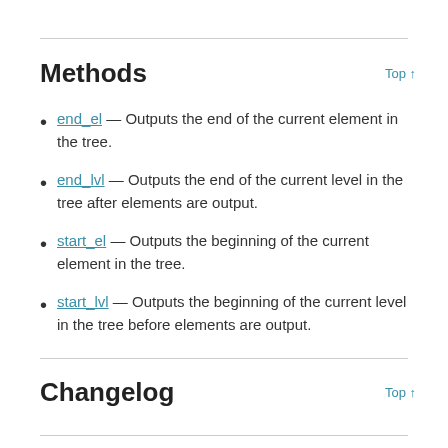Methods
end_el — Outputs the end of the current element in the tree.
end_lvl — Outputs the end of the current level in the tree after elements are output.
start_el — Outputs the beginning of the current element in the tree.
start_lvl — Outputs the beginning of the current level in the tree before elements are output.
Changelog